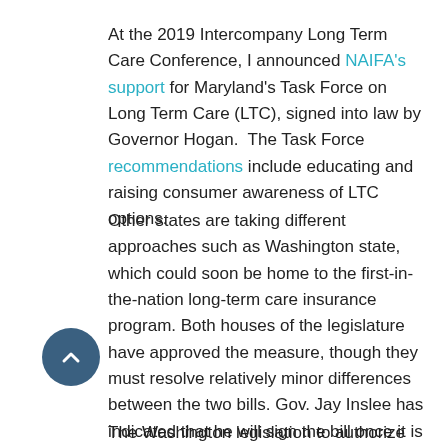At the 2019 Intercompany Long Term Care Conference, I announced NAIFA's support for Maryland's Task Force on Long Term Care (LTC), signed into law by Governor Hogan.  The Task Force recommendations include educating and raising consumer awareness of LTC options.
Other states are taking different approaches such as Washington state, which could soon be home to the first-in-the-nation long-term care insurance program. Both houses of the legislature have approved the measure, though they must resolve relatively minor differences between the two bills. Gov. Jay Inslee has indicated that he will sign the bill once it is approved by both houses.
The Washington legislation to authorize the